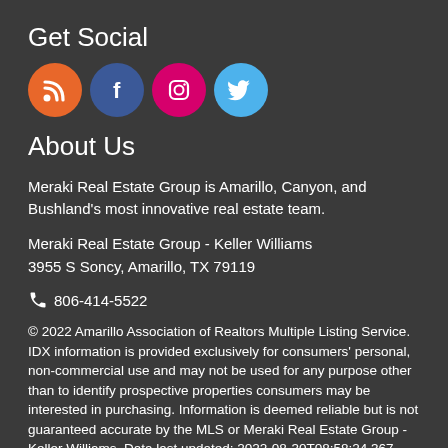Get Social
[Figure (illustration): Four social media icon circles: RSS (orange), Facebook (dark blue), Instagram (pink/magenta), Twitter (light blue)]
About Us
Meraki Real Estate Group is Amarillo, Canyon, and Bushland's most innovative real estate team.
Meraki Real Estate Group - Keller Williams
3955 S Soncy, Amarillo, TX 79119
📞 806-414-5522
© 2022 Amarillo Association of Realtors Multiple Listing Service. IDX information is provided exclusively for consumers' personal, non-commercial use and may not be used for any purpose other than to identify prospective properties consumers may be interested in purchasing. Information is deemed reliable but is not guaranteed accurate by the MLS or Meraki Real Estate Group - Keller Williams. Data last updated: 2022-08-30T08:58:24.367.